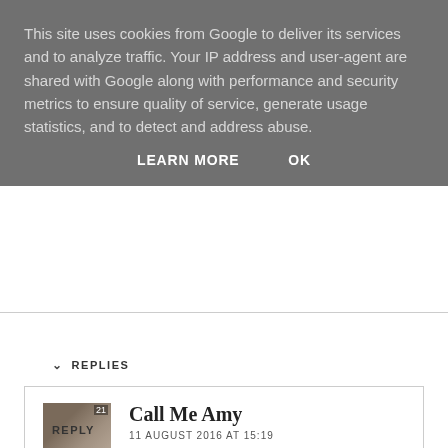This site uses cookies from Google to deliver its services and to analyze traffic. Your IP address and user-agent are shared with Google along with performance and security metrics to ensure quality of service, generate usage statistics, and to detect and address abuse.
LEARN MORE   OK
REPLIES
Call Me Amy
11 AUGUST 2016 AT 15:19

Thank you, I'm in love with it as well! xx
REPLY